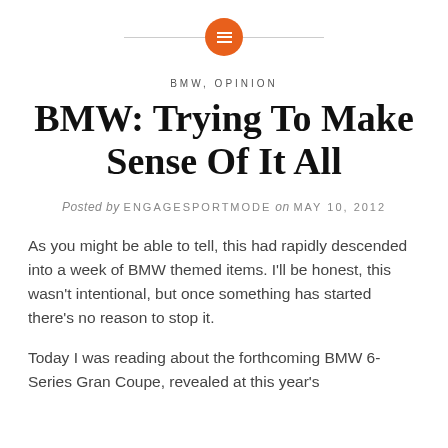[Figure (logo): Orange circle logo with horizontal lines icon, flanked by a thin gray horizontal line]
BMW, OPINION
BMW: Trying To Make Sense Of It All
Posted by ENGAGESPORTMODE on MAY 10, 2012
As you might be able to tell, this had rapidly descended into a week of BMW themed items. I'll be honest, this wasn't intentional, but once something has started there's no reason to stop it.
Today I was reading about the forthcoming BMW 6-Series Gran Coupe, revealed at this year's